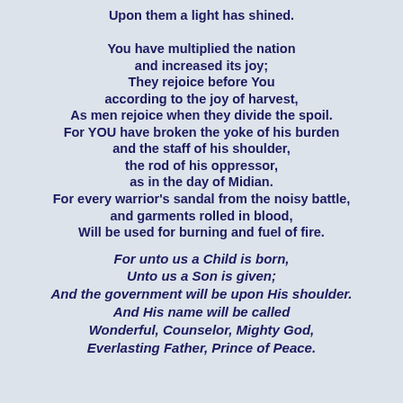Upon them a light has shined.

You have multiplied the nation
and increased its joy;
They rejoice before You
according to the joy of harvest,
As men rejoice when they divide the spoil.
For YOU have broken the yoke of his burden
and the staff of his shoulder,
the rod of his oppressor,
as in the day of Midian.
For every warrior's sandal from the noisy battle,
and garments rolled in blood,
Will be used for burning and fuel of fire.
For unto us a Child is born,
Unto us a Son is given;
And the government will be upon His shoulder.
And His name will be called
Wonderful, Counselor, Mighty God,
Everlasting Father, Prince of Peace.